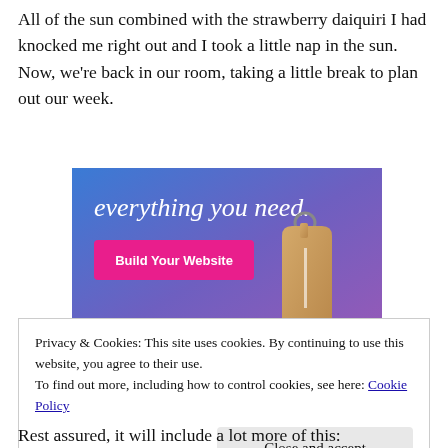All of the sun combined with the strawberry daiquiri I had knocked me right out and I took a little nap in the sun.  Now, we're back in our room, taking a little break to plan out our week.
[Figure (illustration): Advertisement banner with blue-to-purple gradient background, text 'everything you need.' in white serif font, a pink 'Build Your Website' button, and a tan/brown luggage tag illustration on the right.]
Privacy & Cookies: This site uses cookies. By continuing to use this website, you agree to their use.
To find out more, including how to control cookies, see here: Cookie Policy

Close and accept
Rest assured, it will include a lot more of this: